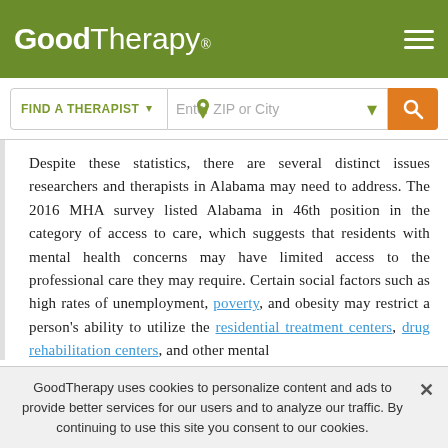GoodTherapy®
Despite these statistics, there are several distinct issues researchers and therapists in Alabama may need to address. The 2016 MHA survey listed Alabama in 46th position in the category of access to care, which suggests that residents with mental health concerns may have limited access to the professional care they may require. Certain social factors such as high rates of unemployment, poverty, and obesity may restrict a person's ability to utilize the residential treatment centers, drug rehabilitation centers, and other mental
GoodTherapy uses cookies to personalize content and ads to provide better services for our users and to analyze our traffic. By continuing to use this site you consent to our cookies.